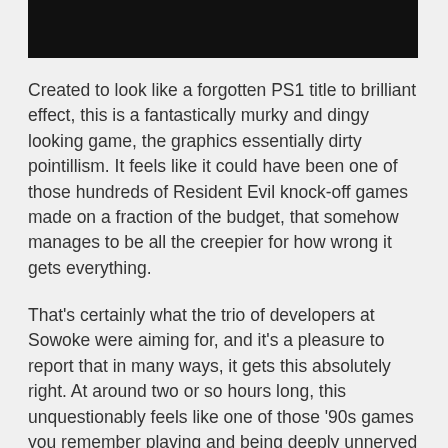[Figure (photo): Black bar at top of page, likely an image or header graphic that is blacked out]
Created to look like a forgotten PS1 title to brilliant effect, this is a fantastically murky and dingy looking game, the graphics essentially dirty pointillism. It feels like it could have been one of those hundreds of Resident Evil knock-off games made on a fraction of the budget, that somehow manages to be all the creepier for how wrong it gets everything.
That's certainly what the trio of developers at Sowoke were aiming for, and it's a pleasure to report that in many ways, it gets this absolutely right. At around two or so hours long, this unquestionably feels like one of those '90s games you remember playing and being deeply unnerved by, despite its clunky, clumsy ways.